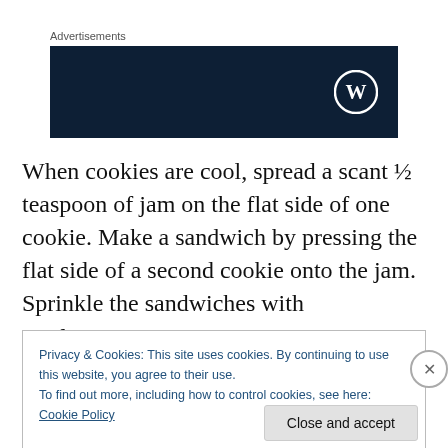Advertisements
[Figure (logo): Dark navy advertisement banner with WordPress logo (white circle W icon) on the right side]
When cookies are cool, spread a scant ½ teaspoon of jam on the flat side of one cookie. Make a sandwich by pressing the flat side of a second cookie onto the jam. Sprinkle the sandwiches with confectioners' sugar.
Privacy & Cookies: This site uses cookies. By continuing to use this website, you agree to their use.
To find out more, including how to control cookies, see here: Cookie Policy
Close and accept